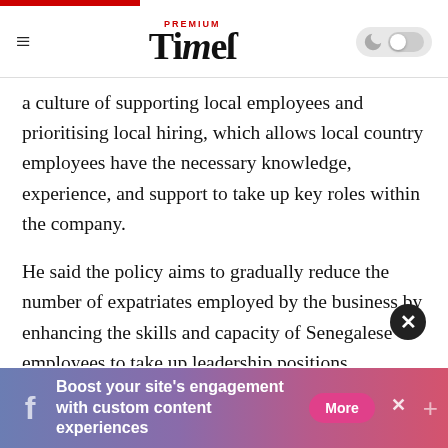Premium Times
a culture of supporting local employees and prioritising local hiring, which allows local country employees have the necessary knowledge, experience, and support to take up key roles within the company.
He said the policy aims to gradually reduce the number of expatriates employed by the business by enhancing the skills and capacity of Senegalese employees to take up leadership positions.
“We have ensured that our image has been aligned with two key principles from day one: maintaining high quality, and taking a local approach in everything that we do,” he said.
[Figure (infographic): Facebook ad banner: Boost your site’s engagement with custom content experiences. More button.]